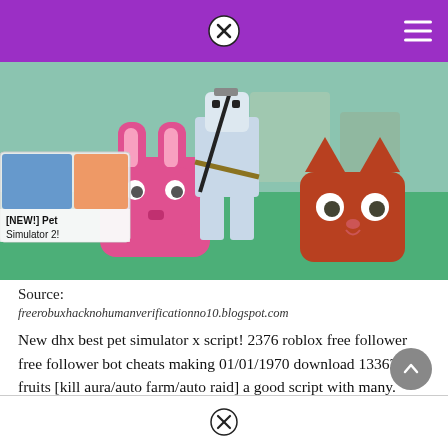[navigation bar with close button and hamburger menu]
[Figure (screenshot): Screenshot of a Roblox Pet Simulator X game showing colorful blocky pet characters (a pink bunny, a brown cat) and a Roblox character in white/samurai outfit, with a Pet Simulator 2 thumbnail overlay in the top-left corner, on a green background.]
Source:
freerobuxhacknohumanverificationno10.blogspot.com
New dhx best pet simulator x script! 2376 roblox free follower free follower bot cheats making 01/01/1970 download 13362 blox fruits [kill aura/auto farm/auto raid] a good script with many.
[close button footer bar]